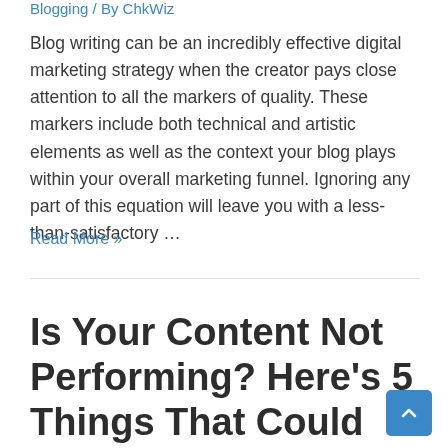Blogging / By ChkWiz
Blog writing can be an incredibly effective digital marketing strategy when the creator pays close attention to all the markers of quality. These markers include both technical and artistic elements as well as the context your blog plays within your overall marketing funnel. Ignoring any part of this equation will leave you with a less-than-satisfactory …
Read More »
Is Your Content Not Performing? Here's 5 Things That Could Be the